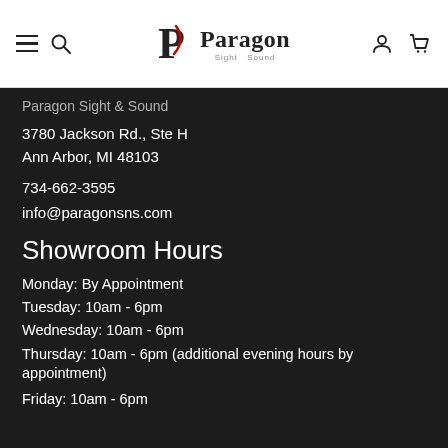Paragon Sight & Sound — navigation header with logo, hamburger menu, search, user icon, cart icon
Paragon Sight & Sound
3780 Jackson Rd., Ste H
Ann Arbor, MI 48103
734-662-3595
info@paragonsns.com
Showroom Hours
Monday: By Appointment
Tuesday: 10am - 6pm
Wednesday: 10am - 6pm
Thursday: 10am - 6pm (additional evening hours by appointment)
Friday: 10am - 6pm